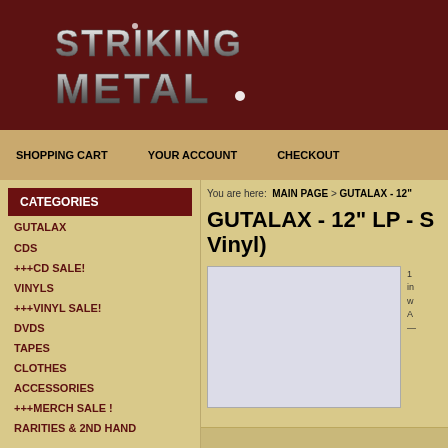[Figure (logo): Striking Metal logo in metallic chrome style text on dark red background]
SHOPPING CART    YOUR ACCOUNT    CHECKOUT
CATEGORIES
GUTALAX
CDS
+++CD SALE!
VINYLS
+++VINYL SALE!
DVDS
TAPES
CLOTHES
ACCESSORIES
+++MERCH SALE !
RARITIES & 2ND HAND
You are here:  MAIN PAGE > GUTALAX - 12"
GUTALAX - 12" LP - S... Vinyl)
[Figure (photo): Product image placeholder - light grey rectangle]
1... in... w... A... —